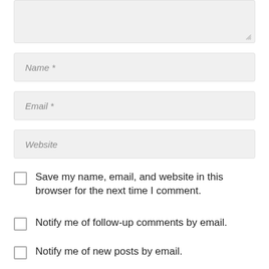[Figure (screenshot): Textarea input field (comment box) with resize handle at bottom-right, styled with light gray background]
Name *
Email *
Website
Save my name, email, and website in this browser for the next time I comment.
Notify me of follow-up comments by email.
Notify me of new posts by email.